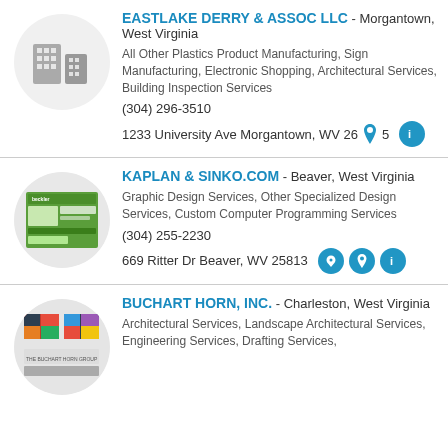[Figure (logo): Gray building icon in a circle for Eastlake Derry & Assoc LLC]
EASTLAKE DERRY & ASSOC LLC - Morgantown, West Virginia
All Other Plastics Product Manufacturing, Sign Manufacturing, Electronic Shopping, Architectural Services, Building Inspection Services
(304) 296-3510
1233 University Ave Morgantown, WV 26905
[Figure (logo): Beckler website screenshot thumbnail in a circle for Kaplan & Sinko.com]
KAPLAN & SINKO.COM - Beaver, West Virginia
Graphic Design Services, Other Specialized Design Services, Custom Computer Programming Services
(304) 255-2230
669 Ritter Dr Beaver, WV 25813
[Figure (logo): Buchart Horn Inc logo thumbnail in a circle]
BUCHART HORN, INC. - Charleston, West Virginia
Architectural Services, Landscape Architectural Services, Engineering Services, Drafting Services,